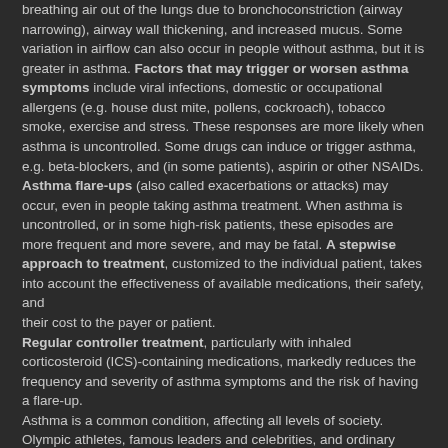breathing air out of the lungs due to bronchoconstriction (airway narrowing), airway wall thickening, and increased mucus. Some variation in airflow can also occur in people without asthma, but it is greater in asthma. Factors that may trigger or worsen asthma symptoms include viral infections, domestic or occupational allergens (e.g. house dust mite, pollens, cockroach), tobacco smoke, exercise and stress. These responses are more likely when asthma is uncontrolled. Some drugs can induce or trigger asthma, e.g. beta-blockers, and (in some patients), aspirin or other NSAIDs. Asthma flare-ups (also called exacerbations or attacks) may occur, even in people taking asthma treatment. When asthma is uncontrolled, or in some high-risk patients, these episodes are more frequent and more severe, and may be fatal. A stepwise approach to treatment, customized to the individual patient, takes into account the effectiveness of available medications, their safety, and their cost to the payer or patient. Regular controller treatment, particularly with inhaled corticosteroid (ICS)-containing medications, markedly reduces the frequency and severity of asthma symptoms and the risk of having a flare-up. Asthma is a common condition, affecting all levels of society. Olympic athletes, famous leaders and celebrities, and ordinary people live successful and active lives with asthma.